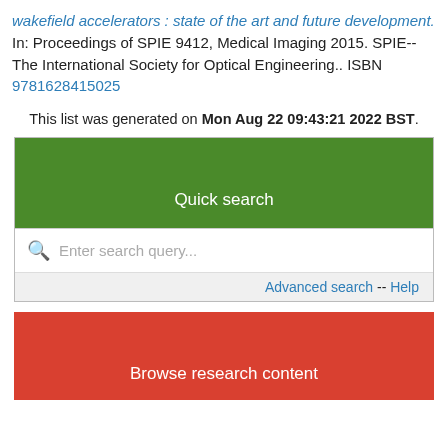wakefield accelerators : state of the art and future development. In: Proceedings of SPIE 9412, Medical Imaging 2015. SPIE--The International Society for Optical Engineering.. ISBN 9781628415025
This list was generated on Mon Aug 22 09:43:21 2022 BST.
[Figure (screenshot): Quick search bar with green header, search input field, and Advanced search -- Help link below]
[Figure (screenshot): Browse research content red banner]